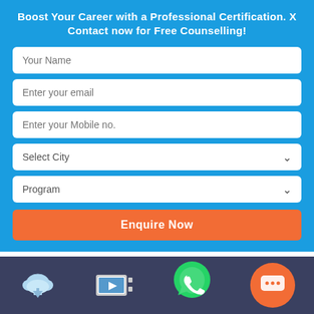Boost Your Career with a Professional Certification. X Contact now for Free Counselling!
could indicate that new content doesn't measure up to the standard your users have come to expect.
Related links you will like:
[Figure (screenshot): Bottom navigation bar with cloud download icon, video play icon, WhatsApp icon, and orange chat bubble icon]